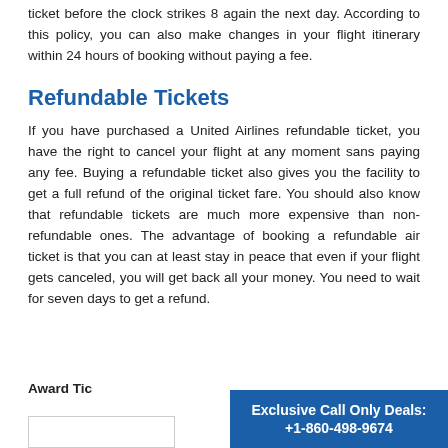ticket before the clock strikes 8 again the next day. According to this policy, you can also make changes in your flight itinerary within 24 hours of booking without paying a fee.
Refundable Tickets
If you have purchased a United Airlines refundable ticket, you have the right to cancel your flight at any moment sans paying any fee. Buying a refundable ticket also gives you the facility to get a full refund of the original ticket fare. You should also know that refundable tickets are much more expensive than non-refundable ones. The advantage of booking a refundable air ticket is that you can at least stay in peace that even if your flight gets canceled, you will get back all your money. You need to wait for seven days to get a refund.
Award Tic
Exclusive Call Only Deals: +1-860-498-9674